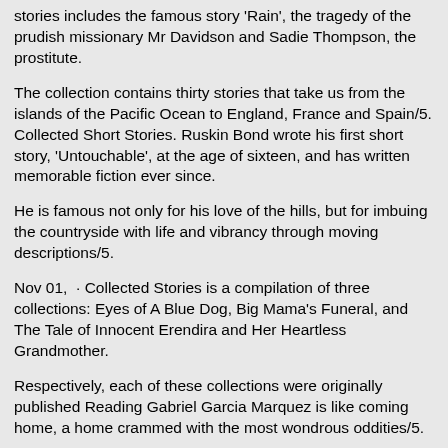stories includes the famous story 'Rain', the tragedy of the prudish missionary Mr Davidson and Sadie Thompson, the prostitute.
The collection contains thirty stories that take us from the islands of the Pacific Ocean to England, France and Spain/5. Collected Short Stories. Ruskin Bond wrote his first short story, 'Untouchable', at the age of sixteen, and has written memorable fiction ever since.
He is famous not only for his love of the hills, but for imbuing the countryside with life and vibrancy through moving descriptions/5.
Nov 01,  · Collected Stories is a compilation of three collections: Eyes of A Blue Dog, Big Mama's Funeral, and The Tale of Innocent Erendira and Her Heartless Grandmother.
Respectively, each of these collections were originally published Reading Gabriel Garcia Marquez is like coming home, a home crammed with the most wondrous oddities/5.
Collected Stories of William Faulkner is a short story collection by William Faulkner published by Random House in It won the National Book Award for Fiction in [1] The publication of this collection of 42 stories was authorized and supervised by